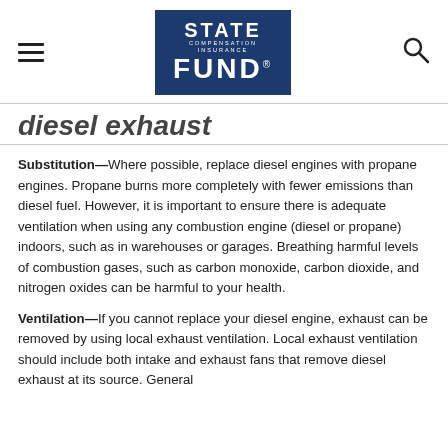State Compensation Insurance Fund logo, hamburger menu, search icon
Diesel Exhaust (partial heading visible)
Substitution—Where possible, replace diesel engines with propane engines. Propane burns more completely with fewer emissions than diesel fuel. However, it is important to ensure there is adequate ventilation when using any combustion engine (diesel or propane) indoors, such as in warehouses or garages. Breathing harmful levels of combustion gases, such as carbon monoxide, carbon dioxide, and nitrogen oxides can be harmful to your health.
Ventilation—If you cannot replace your diesel engine, exhaust can be removed by using local exhaust ventilation. Local exhaust ventilation should include both intake and exhaust fans that remove diesel exhaust at its source. General